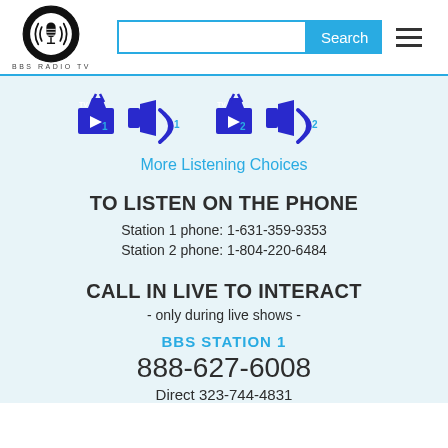[Figure (logo): BBS Radio TV logo — circular black and white logo with microphone design and text BBS RADIO TV below]
[Figure (screenshot): Search bar with teal Search button and hamburger menu icon]
[Figure (infographic): Four icons: TV1, audio/speaker 1, TV2, audio/speaker 2 in blue]
More Listening Choices
TO LISTEN ON THE PHONE
Station 1 phone: 1-631-359-9353
Station 2 phone: 1-804-220-6484
CALL IN LIVE TO INTERACT
- only during live shows -
BBS STATION 1
888-627-6008
Direct 323-744-4831